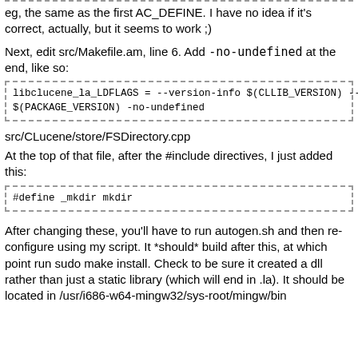eg, the same as the first AC_DEFINE. I have no idea if it's correct, actually, but it seems to work ;)
Next, edit src/Makefile.am, line 6. Add -no-undefined at the end, like so:
libclucene_la_LDFLAGS = --version-info $(CLLIB_VERSION) --release
$(PACKAGE_VERSION) -no-undefined
src/CLucene/store/FSDirectory.cpp
At the top of that file, after the #include directives, I just added this:
#define _mkdir mkdir
After changing these, you'll have to run autogen.sh and then re-configure using my script. It *should* build after this, at which point run sudo make install. Check to be sure it created a dll rather than just a static library (which will end in .la). It should be located in /usr/i686-w64-mingw32/sys-root/mingw/bin